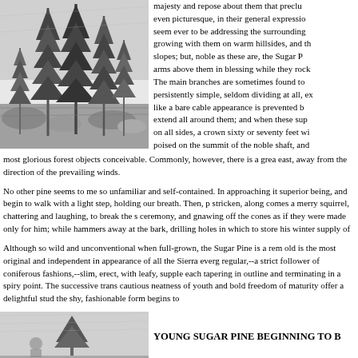[Figure (illustration): Black and white engraving of tall pine trees (Sugar Pines) in a forest setting with rocks, illustrating the natural habitat of the Sugar Pine tree.]
majesty and repose about them that precludes even picturesque, in their general expression, seem ever to be addressing the surrounding growing with them on warm hillsides, and the slopes; but, noble as these are, the Sugar P arms above them in blessing while they rock The main branches are sometimes found to persistently simple, seldom dividing at all, ex like a bare cable appearance is prevented b extend all around them; and when these sup on all sides, a crown sixty or seventy feet wi poised on the summit of the noble shaft, and most glorious forest objects conceivable. Commonly, however, there is a grea east, away from the direction of the prevailing winds.
No other pine seems to me so unfamiliar and self-contained. In approaching it superior being, and begin to walk with a light step, holding our breath. Then, p stricken, along comes a merry squirrel, chattering and laughing, to break the s ceremony, and gnawing off the cones as if they were made only for him; while hammers away at the bark, drilling holes in which to store his winter supply of
Although so wild and unconventional when full-grown, the Sugar Pine is a rem old is the most original and independent in appearance of all the Sierra everg regular,--a strict follower of coniferous fashions,--slim, erect, with leafy, supple each tapering in outline and terminating in a spiry point. The successive trans cautious neatness of youth and bold freedom of maturity offer a delightful stud the shy, fashionable form begins to
[Figure (illustration): Black and white illustration of a young Sugar Pine tree beginning to grow, showing its early form and shape.]
YOUNG SUGAR PINE BEGINNING TO B